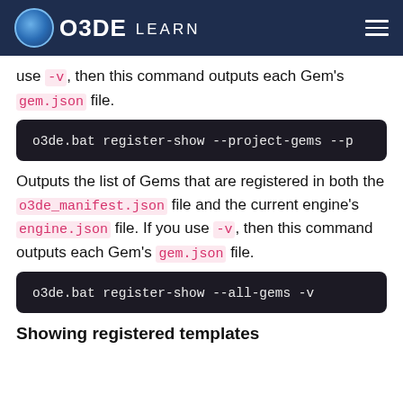O3DE LEARN
use -v, then this command outputs each Gem's gem.json file.
o3de.bat register-show --project-gems --p
Outputs the list of Gems that are registered in both the o3de_manifest.json file and the current engine's engine.json file. If you use -v, then this command outputs each Gem's gem.json file.
o3de.bat register-show --all-gems -v
Showing registered templates